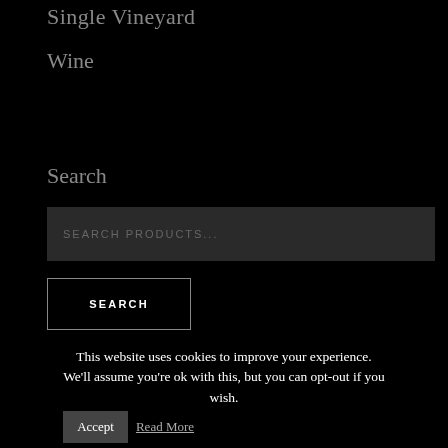Single Vineyard
Wine
Search
SEARCH PRODUCTS...
SEARCH
This website uses cookies to improve your experience. We'll assume you're ok with this, but you can opt-out if you wish.
Accept
Read More